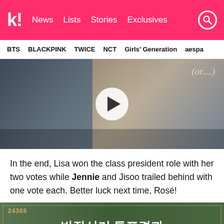k! News Lists Stories Exclusives
BTS BLACKPINK TWICE NCT Girls' Generation aespa
[Figure (screenshot): Video thumbnail of BLACKPINK classroom scene with play button overlay and Korean text annotation]
In the end, Lisa won the class president role with her two votes while Jennie and Jisoo trailed behind with one vote each. Better luck next time, Rosé!
[Figure (screenshot): Green chalkboard image with text '24365' logo in top left and Korean text '반장선거 투표결과' in white]